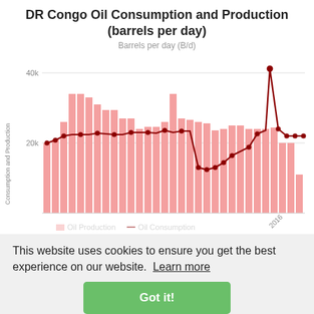DR Congo Oil Consumption and Production (barrels per day)
[Figure (continuous-plot): Combined bar and line chart showing DR Congo oil production (bars, salmon/pink) and oil consumption (dark red line with dots) from approximately 1980 to 2016. Y-axis shows values in barrels per day (B/d) with labels at 20k and 40k. Production bars range roughly 20k-35k with a sharp spike near 2016 to ~37k. Consumption line sits around 20k dipping sharply to ~12k around 2008-2010 then recovering. X-axis label visible: 2016.]
Barrels per day (B/d)
This website uses cookies to ensure you get the best experience on our website.  Learn more
Got it!
Yearly Oil Production (Consumption + Net